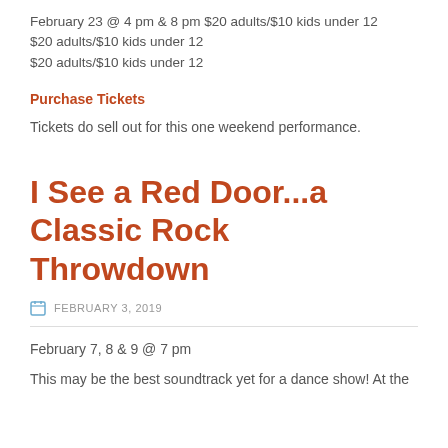February 23 @ 4 pm & 8 pm $20 adults/$10 kids under 12
$20 adults/$10 kids under 12
$20 adults/$10 kids under 12
Purchase Tickets
Tickets do sell out for this one weekend performance.
I See a Red Door...a Classic Rock Throwdown
FEBRUARY 3, 2019
February 7, 8 & 9 @ 7 pm
This may be the best soundtrack yet for a dance show! At the